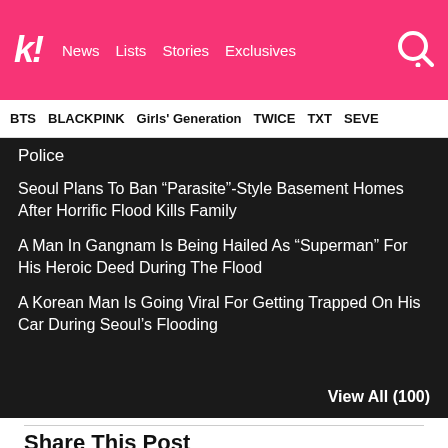k! News  Lists  Stories  Exclusives
BTS  BLACKPINK  Girls' Generation  TWICE  TXT  SEVE...
Police
Seoul Plans To Ban “Parasite”-Style Basement Homes After Horrific Flood Kills Family
A Man In Gangnam Is Being Hailed As “Superman” For His Heroic Deed During The Flood
A Korean Man Is Going Viral For Getting Trapped On His Car During Seoul’s Flooding
View All (100)
Share This Post